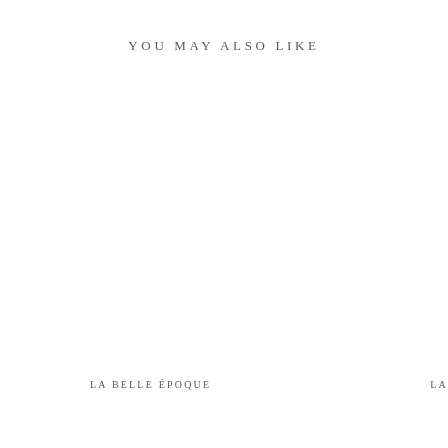YOU MAY ALSO LIKE
LA BELLE ÉPOQUE
LA